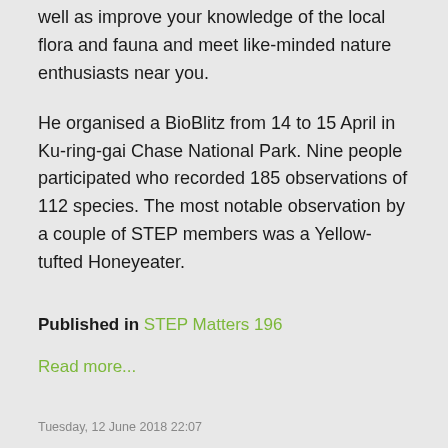well as improve your knowledge of the local flora and fauna and meet like-minded nature enthusiasts near you.
He organised a BioBlitz from 14 to 15 April in Ku-ring-gai Chase National Park. Nine people participated who recorded 185 observations of 112 species. The most notable observation by a couple of STEP members was a Yellow-tufted Honeyeater.
Published in STEP Matters 196
Read more...
Tuesday, 12 June 2018 22:07